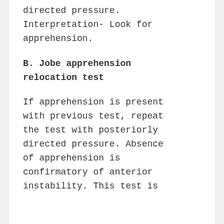directed pressure. Interpretation- Look for apprehension.
B. Jobe apprehension relocation test
If apprehension is present with previous test, repeat the test with posteriorly directed pressure. Absence of apprehension is confirmatory of anterior instability. This test is